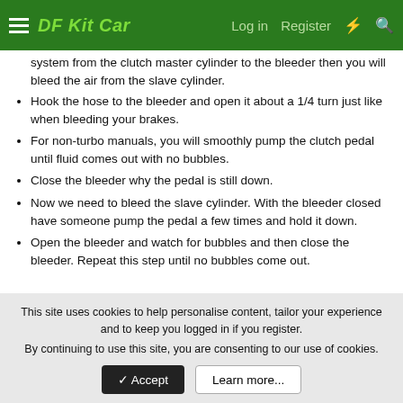DF Kit Car — Log in  Register
system from the clutch master cylinder to the bleeder then you will bleed the air from the slave cylinder.
Hook the hose to the bleeder and open it about a 1/4 turn just like when bleeding your brakes.
For non-turbo manuals, you will smoothly pump the clutch pedal until fluid comes out with no bubbles.
Close the bleeder why the pedal is still down.
Now we need to bleed the slave cylinder. With the bleeder closed have someone pump the pedal a few times and hold it down.
Open the bleeder and watch for bubbles and then close the bleeder. Repeat this step until no bubbles come out.
r3drckt
This site uses cookies to help personalise content, tailor your experience and to keep you logged in if you register. By continuing to use this site, you are consenting to our use of cookies.